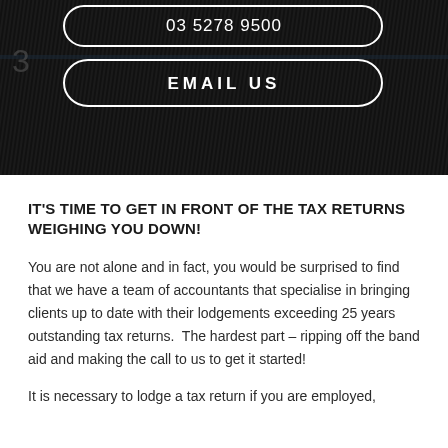[Figure (photo): Dark background hero image with a phone number button and EMAIL US button, dark textured background resembling a car or dark surface]
IT'S TIME TO GET IN FRONT OF THE TAX RETURNS WEIGHING YOU DOWN!
You are not alone and in fact, you would be surprised to find that we have a team of accountants that specialise in bringing clients up to date with their lodgements exceeding 25 years outstanding tax returns.  The hardest part – ripping off the band aid and making the call to us to get it started!
It is necessary to lodge a tax return if you are employed,